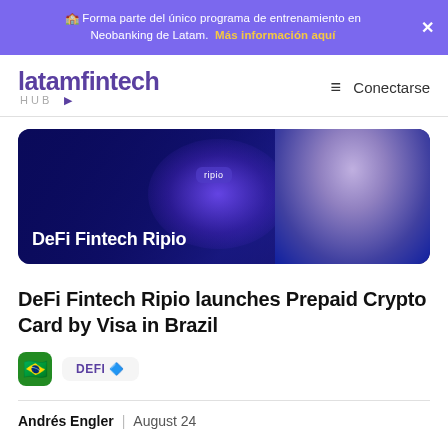🏫 Forma parte del único programa de entrenamiento en Neobanking de Latam. Más información aquí
[Figure (logo): latamfintech HUB logo in purple]
≡  Conectarse
[Figure (illustration): Dark blue banner image showing DeFi Fintech Ripio branding with a person's face on the right side]
DeFi Fintech Ripio launches Prepaid Crypto Card by Visa in Brazil
🇧🇷  DEFI 🔷
Andrés Engler  |  August 24